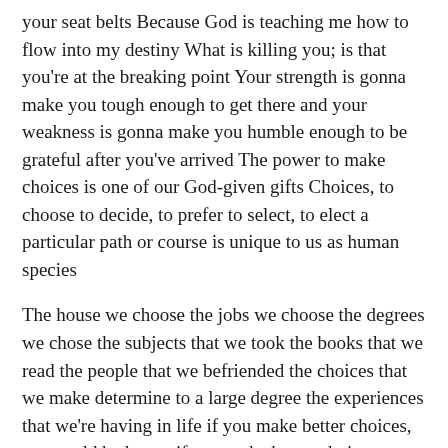your seat belts Because God is teaching me how to flow into my destiny What is killing you; is that you're at the breaking point Your strength is gonna make you tough enough to get there and your weakness is gonna make you humble enough to be grateful after you've arrived The power to make choices is one of our God-given gifts Choices, to choose to decide, to prefer to select, to elect a particular path or course is unique to us as human species
The house we choose the jobs we choose the degrees we chose the subjects that we took the books that we read the people that we befriended the choices that we make determine to a large degree the experiences that we're having in life if you make better choices, you could be happy if you make better choices, you can have peace of mind In fact even if you chose to think differently than you think you can have peace of mind most of us torment ourselves by choosing to reflect on things we cannot fix we cannot change, we cannot alter, and we cannot move And you are the author of your own misery because of the choices
God has given the ability and the power it starts and...